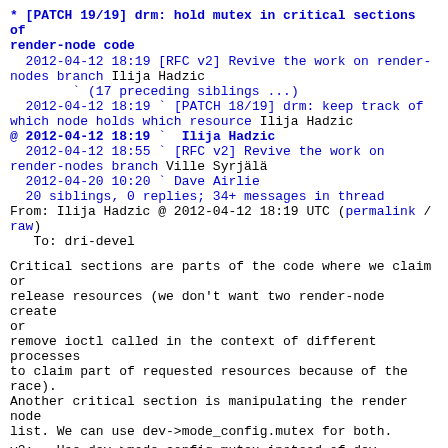* [PATCH 19/19] drm: hold mutex in critical sections of render-node code
2012-04-12 18:19 [RFC v2] Revive the work on render-nodes branch Ilija Hadzic
` (17 preceding siblings ...)
2012-04-12 18:19 ` [PATCH 18/19] drm: keep track of which node holds which resource Ilija Hadzic
@ 2012-04-12 18:19 ` Ilija Hadzic
2012-04-12 18:55 ` [RFC v2] Revive the work on render-nodes branch Ville Syrjälä
2012-04-20 10:20 ` Dave Airlie
20 siblings, 0 replies; 34+ messages in thread
From: Ilija Hadzic @ 2012-04-12 18:19 UTC (permalink / raw)
   To: dri-devel
Critical sections are parts of the code where we claim or
release resources (we don't want two render-node create or
remove ioctl called in the context of different processes
to claim part of requested resources because of the race).
Another critical section is manipulating the render node
list. We can use dev->mode_config.mutex for both.
v2: - Use dev->mode_config.mutex instead of dev-